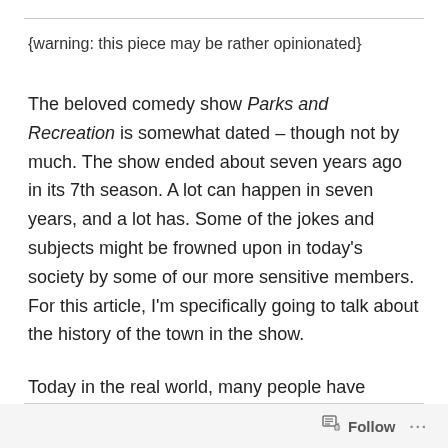{warning: this piece may be rather opinionated}
The beloved comedy show Parks and Recreation is somewhat dated – though not by much. The show ended about seven years ago in its 7th season. A lot can happen in seven years, and a lot has. Some of the jokes and subjects might be frowned upon in today's society by some of our more sensitive members. For this article, I'm specifically going to talk about the history of the town in the show.
Today in the real world, many people have removed a statue of Christopher Columbus, criticized books like
Follow ...